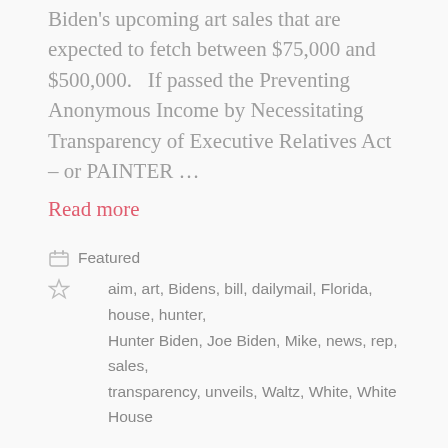Biden's upcoming art sales that are expected to fetch between $75,000 and $500,000.   If passed the Preventing Anonymous Income by Necessitating Transparency of Executive Relatives Act – or PAINTER …
Read more
Featured
aim, art, Bidens, bill, dailymail, Florida, house, hunter, Hunter Biden, Joe Biden, Mike, news, rep, sales, transparency, unveils, Waltz, White, White House
SpaceX awarded a $178M contract for NASA's mission to Jupiter's moon
July 26, 2021 by Read Content